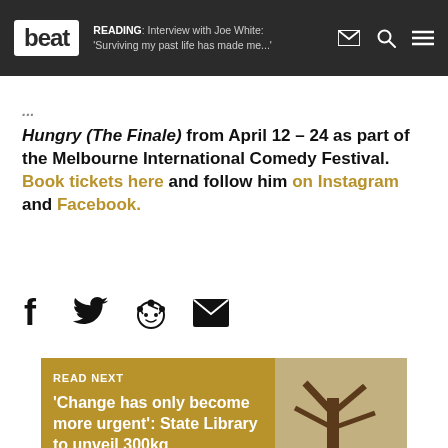beat | READING: Interview with Joe White: 'Surviving my past life has made me...'
Hungry (The Finale) from April 12 – 24 as part of the Melbourne International Comedy Festival. Book tickets here and follow him on Instagram and Facebook.
[Figure (other): Social share icons: Facebook, Twitter, Reddit, Email]
READ NEXT
'Change has only become more urgent': State Library to unveil 300kg environmental sculpture
[Figure (photo): Photo of a person standing next to a large tree in a dry landscape]